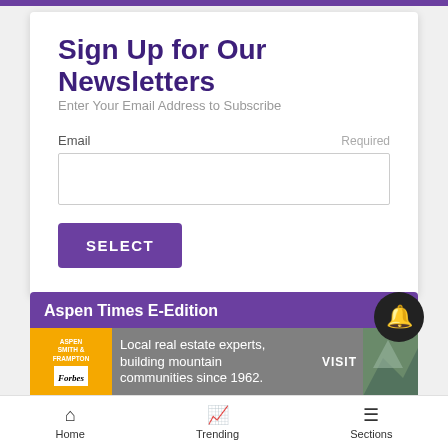Sign Up for Our Newsletters
Enter Your Email Address to Subscribe
Email
Required
SELECT
Aspen Times E-Edition
[Figure (infographic): Advertisement banner: Aspen Smith & Frampton logo with Forbes badge, text 'Local real estate experts, building mountain communities since 1962.' with VISIT button and mountain background photo]
Home   Trending   Sections